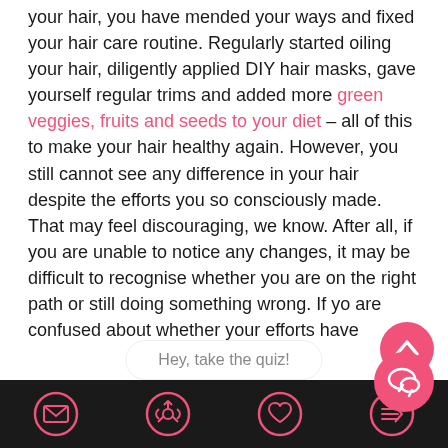your hair, you have mended your ways and fixed your hair care routine. Regularly started oiling your hair, diligently applied DIY hair masks, gave yourself regular trims and added more green veggies, fruits and seeds to your diet – all of this to make your hair healthy again. However, you still cannot see any difference in your hair despite the efforts you so consciously made. That may feel discouraging, we know. After all, if you are unable to notice any changes, it may be difficult to recognise whether you are on the right path or still doing something wrong. If you are confused about whether your efforts have
Hey, take the quiz!
navigation bar with email, share, heart, and menu icons